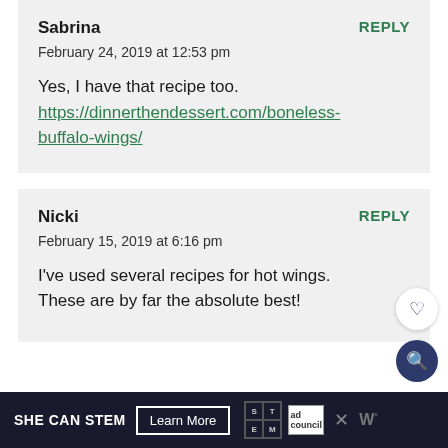Sabrina
REPLY
February 24, 2019 at 12:53 pm
Yes, I have that recipe too. https://dinnerthendessert.com/boneless-buffalo-wings/
Nicki
REPLY
February 15, 2019 at 6:16 pm
I've used several recipes for hot wings. These are by far the absolute best!
SHE CAN STEM  Learn More  [ad council logo]